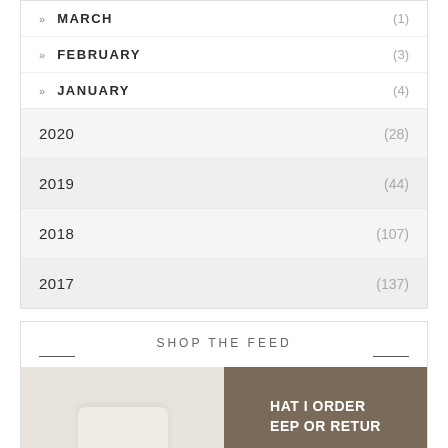» MARCH (1)
» FEBRUARY (3)
» JANUARY (4)
2020 (28)
2019 (44)
2018 (107)
2017 (137)
SHOP THE FEED
[Figure (photo): Two side-by-side images: left shows a white pillow/cushion, right shows a video thumbnail with text 'WHAT I ORDERED: KEEP OR RETURN' over an image of a person in a kitchen]